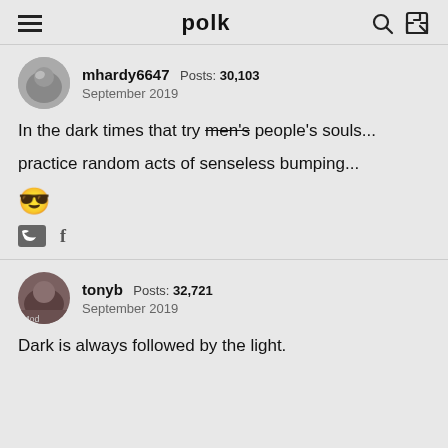polk
mhardy6647 Posts: 30,103
September 2019
In the dark times that try men's people's souls...
practice random acts of senseless bumping...
😎
tonyb Posts: 32,721
September 2019
Dark is always followed by the light.